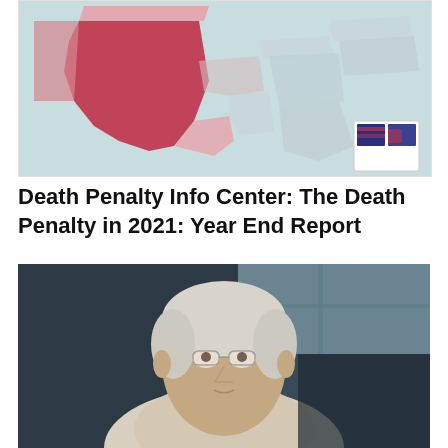[Figure (map): Partial US map showing states with death penalty executions. Texas highlighted in dark pink/red, surrounding states in lighter pink tones, others in light blue/teal. Small inset map in lower right corner.]
Death Penalty Info Center: The Death Penalty in 2021: Year End Report
[Figure (photo): Portrait photograph of an older man with light gray/white hair and glasses, wearing a light-colored shirt, photographed indoors with a blurred background.]